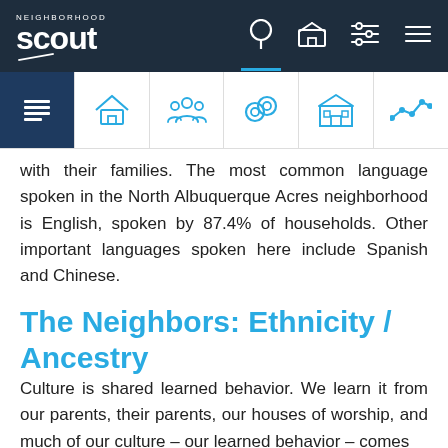Neighborhood Scout - navigation header
with their families. The most common language spoken in the North Albuquerque Acres neighborhood is English, spoken by 87.4% of households. Other important languages spoken here include Spanish and Chinese.
The Neighbors: Ethnicity / Ancestry
Culture is shared learned behavior. We learn it from our parents, their parents, our houses of worship, and much of our culture – our learned behavior – comes